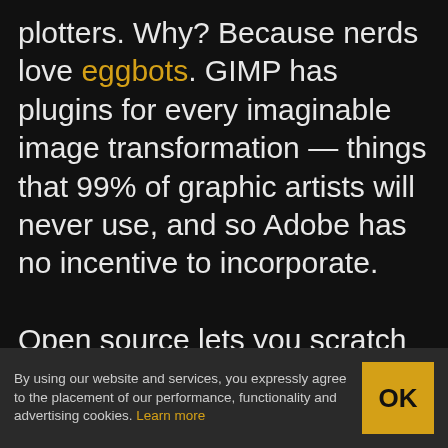plotters. Why? Because nerds love eggbots. GIMP has plugins for every imaginable image transformation — things that 99% of graphic artists will never use, and so Adobe has no incentive to incorporate.

Open source lets you scratch your own itch, and share your solution with others. The features of for-pay, closed-source software are driven by the masses: “is this a feature that enough of our customers want?” The features of open-source software are driven by the freaky ideas of nerds just like me. Vive la
By using our website and services, you expressly agree to the placement of our performance, functionality and advertising cookies. Learn more